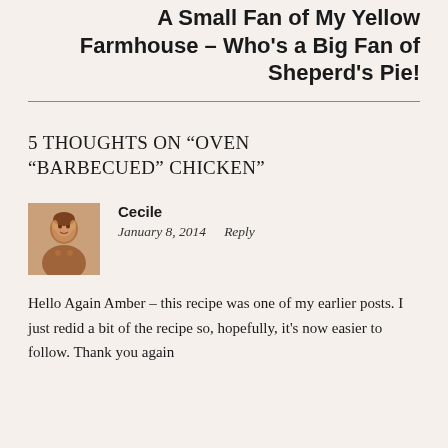A Small Fan of My Yellow Farmhouse – Who's a Big Fan of Sheperd's Pie!
5 THOUGHTS ON “OVEN “BARBECUED” CHICKEN”
Cecile
January 8, 2014   Reply
Hello Again Amber – this recipe was one of my earlier posts. I just redid a bit of the recipe so, hopefully, it’s now easier to follow. Thank you again